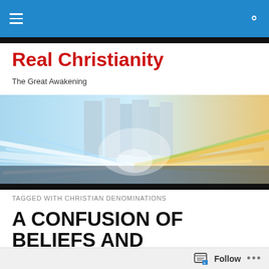Real Christianity – The Great Awakening (navigation bar)
Real Christianity
The Great Awakening
[Figure (photo): Motion-blurred city street with blue light streaks, tall glass buildings in background, futuristic urban scene]
TAGGED WITH CHRISTIAN DENOMINATIONS
A CONFUSION OF BELIEFS AND TRADITIONS: OUR CHRISTIAN TOWER OF...
Follow ...